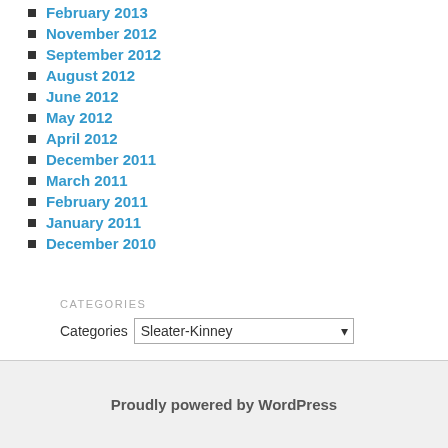February 2013
November 2012
September 2012
August 2012
June 2012
May 2012
April 2012
December 2011
March 2011
February 2011
January 2011
December 2010
CATEGORIES
Categories  Sleater-Kinney
Proudly powered by WordPress